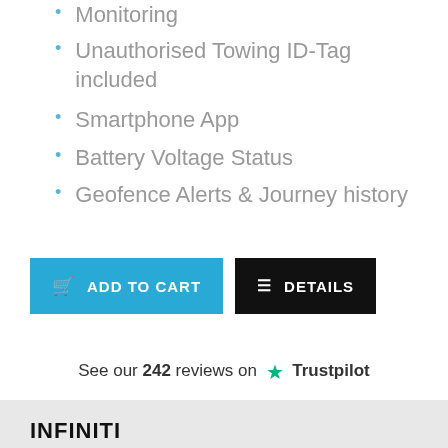Monitoring
Unauthorised Towing ID-Tag included
Smartphone App
Battery Voltage Status
Geofence Alerts & Journey history
ADD TO CART   DETAILS
See our 242 reviews on Trustpilot
INFINITI